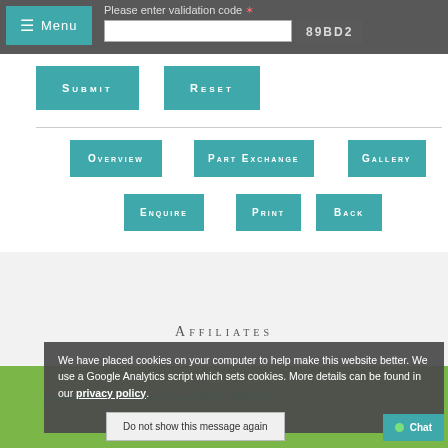Please enter validation code  89BD2
[Figure (screenshot): Menu button (teal) and validation code input field with captcha code 89BD2]
Submit
Reset
Overview
Part Exchange
Gallery
Enquire
Print
Back
Affiliates
We have placed cookies on your computer to help make this website better. We use a Google Analytics script which sets cookies. More details can be found in our privacy policy.
Amazon Automotive Best Sellers
Do not show this message again
Chat